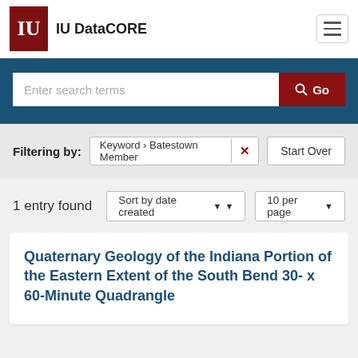IU DataCORE
Enter search terms  Go
Filtering by: Keyword > Batestown Member  [x]  Start Over
1 entry found   Sort by date created ▼ ▾   10 per page ▾
Quaternary Geology of the Indiana Portion of the Eastern Extent of the South Bend 30-x 60-Minute Quadrangle